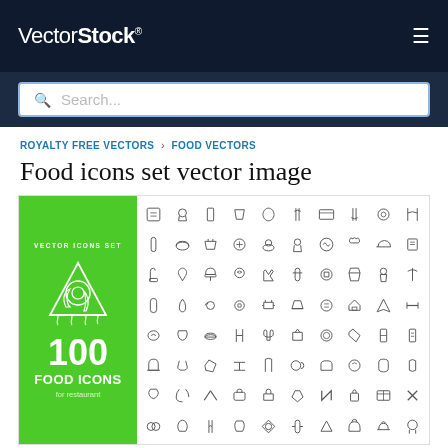VectorStock®
Search...
ROYALTY FREE VECTORS › FOOD VECTORS
Food icons set vector image
[Figure (illustration): Vector icon set product cover showing green panel with pizza illustration and '100 FOOD ICONS for restaurant' label, plus a grid of 80+ outline food icon illustrations on white background]